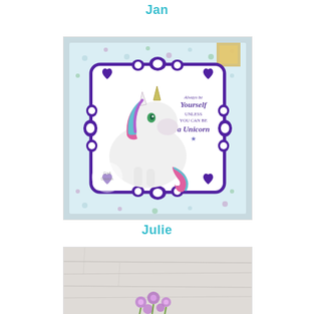Jan
[Figure (photo): A handmade craft card featuring a cute unicorn girl illustration with colorful pink and teal hair, set inside a decorative purple ornate frame on a light blue floral patterned background. Text on the card reads 'Always be Yourself Unless you can be a Unicorn'. A gold glitter corner decoration is visible.]
Julie
[Figure (photo): Partial view of another handmade craft item featuring purple flowers on a white/grey background, cut off at the bottom of the page.]